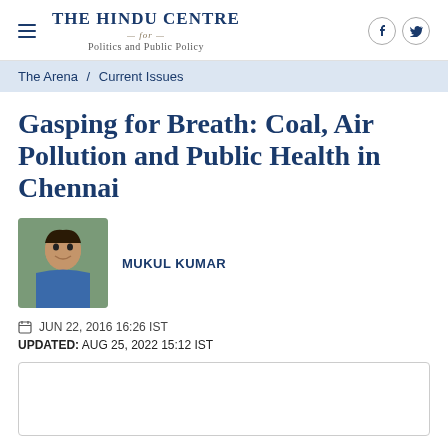THE HINDU CENTRE for Politics and Public Policy
The Arena / Current Issues
Gasping for Breath: Coal, Air Pollution and Public Health in Chennai
MUKUL KUMAR
JUN 22, 2016 16:26 IST
UPDATED: AUG 25, 2022 15:12 IST
[Figure (other): Empty share/embed box]